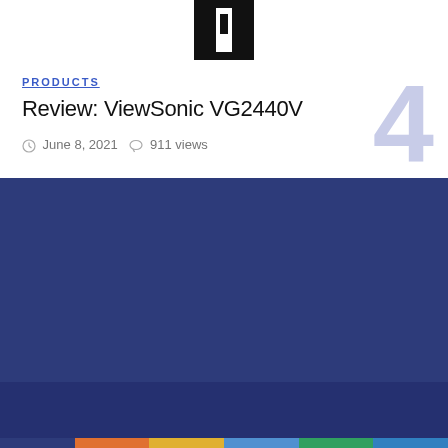[Figure (logo): Black rectangular logo with white letter I on dark background]
PRODUCTS
Review: ViewSonic VG2440V
June 8, 2021  911 views
[Figure (other): Large light purple/lavender number 4 decorative element]
STEM Magazine
[Figure (other): Facebook and Twitter social media icons in white]
STEM Magazine © 2021. Rysha Media LLC
HOME
[Figure (other): Multicolor horizontal bar at bottom: dark blue, orange, yellow, light blue, green, blue segments]